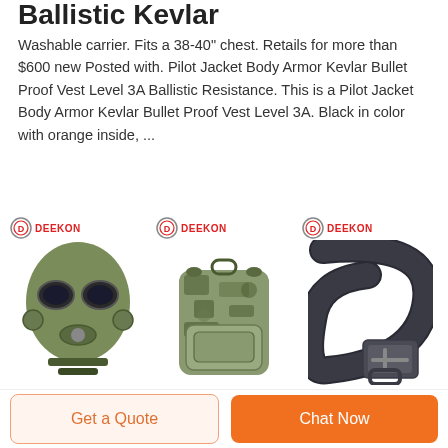Ballistic Kevlar
Washable carrier. Fits a 38-40" chest. Retails for more than $600 new Posted with. Pilot Jacket Body Armor Kevlar Bullet Proof Vest Level 3A Ballistic Resistance. This is a Pilot Jacket Body Armor Kevlar Bullet Proof Vest Level 3A. Black in color with orange inside, ...
[Figure (photo): Three DEEKON branded tactical/military products: a green gas mask, a camouflage tactical backpack/vest, and a black tactical belt with metal buckle.]
NCStar Level IIIA Ballistic
Get a Quote
Chat Now